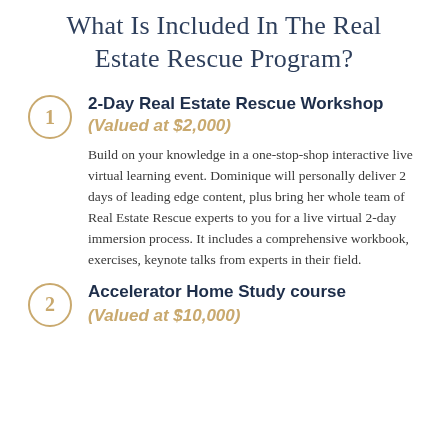What Is Included In The Real Estate Rescue Program?
1. 2-Day Real Estate Rescue Workshop (Valued at $2,000) — Build on your knowledge in a one-stop-shop interactive live virtual learning event. Dominique will personally deliver 2 days of leading edge content, plus bring her whole team of Real Estate Rescue experts to you for a live virtual 2-day immersion process. It includes a comprehensive workbook, exercises, keynote talks from experts in their field.
2. Accelerator Home Study course (Valued at $10,000)